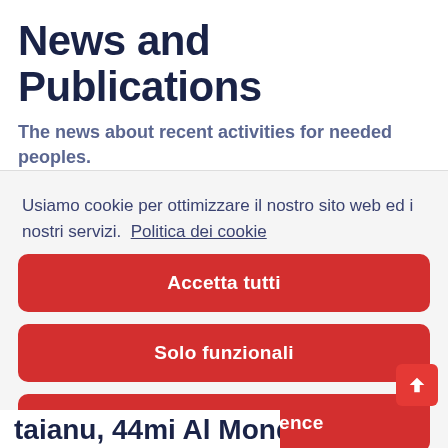News and Publications
The news about recent activities for needed peoples.
Usiamo cookie per ottimizzare il nostro sito web ed i nostri servizi.  Politica dei cookie
Accetta tutti
Solo funzionali
Visualizza preference
taianu, 44mi Al Mondo